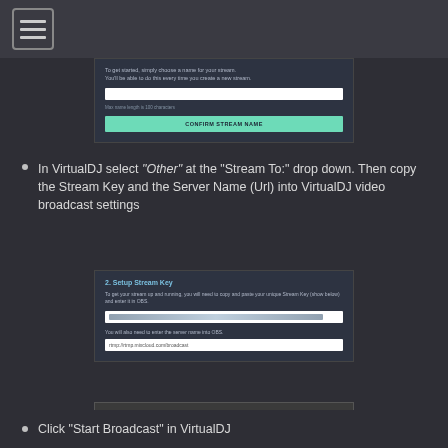Navigation menu header bar
[Figure (screenshot): Confirm Stream Name dialog with a text input field and a teal CONFIRM STREAM NAME button]
In VirtualDJ select "Other" at the "Stream To:" drop down. Then copy the Stream Key and the Server Name (Url) into VirtualDJ video broadcast settings
[Figure (screenshot): Setup Stream Key panel showing a stream key input field and a server URL field with rtmp://rtmp.mixcloud.com/broadcast]
[Figure (screenshot): VirtualDJ video broadcast settings dialog showing Service, URL, Quality and Bitrate fields]
Click "Start Broadcast" in VirtualDJ